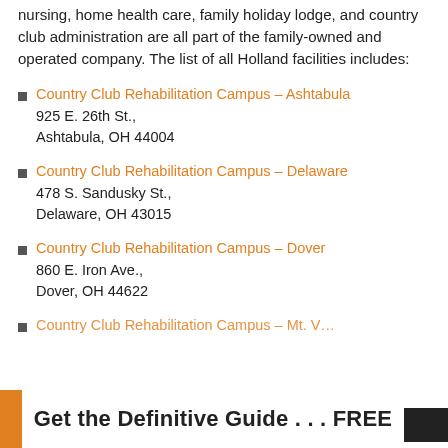nursing, home health care, family holiday lodge, and country club administration are all part of the family-owned and operated company. The list of all Holland facilities includes:
Country Club Rehabilitation Campus – Ashtabula
925 E. 26th St.,
Ashtabula, OH 44004
Country Club Rehabilitation Campus – Delaware
478 S. Sandusky St.,
Delaware, OH 43015
Country Club Rehabilitation Campus – Dover
860 E. Iron Ave.,
Dover, OH 44622
Country Club Rehabilitation Campus – Mt. V…
Get the Definitive Guide . . . FREE